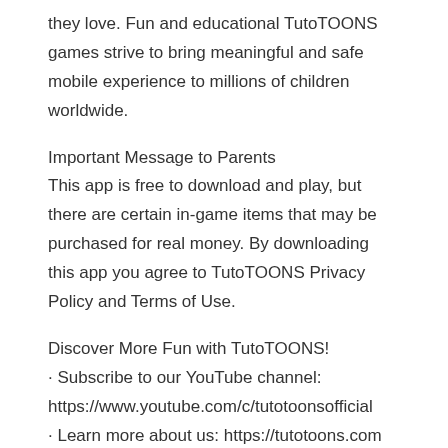they love. Fun and educational TutoTOONS games strive to bring meaningful and safe mobile experience to millions of children worldwide.
Important Message to Parents
This app is free to download and play, but there are certain in-game items that may be purchased for real money. By downloading this app you agree to TutoTOONS Privacy Policy and Terms of Use.
Discover More Fun with TutoTOONS!
· Subscribe to our YouTube channel: https://www.youtube.com/c/tutotoonsofficial
· Learn more about us: https://tutotoons.com
· Read our blog: https://blog.tutotoons.com
New fun game features for kids.
Even cuter characters.
Improved gameplay.